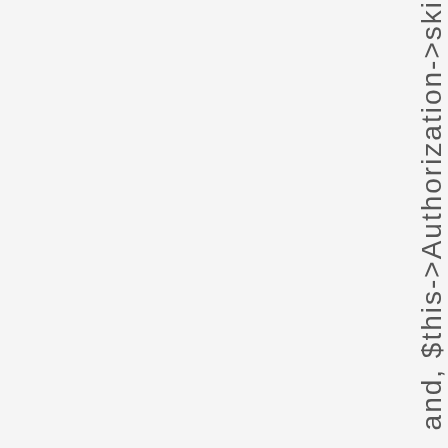and, $this->Authorization->ski